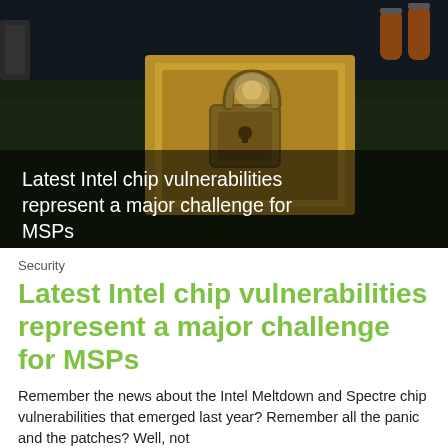[Figure (photo): Close-up photo of a computer motherboard with a CPU chip and a padlock placed on top, symbolizing cybersecurity. The image is dark-toned with a gold CPU chip visible and circuits in the background. White text overlay reads: 'Latest Intel chip vulnerabilities represent a major challenge for MSPs']
Security
Latest Intel chip vulnerabilities represent a major challenge for MSPs
Remember the news about the Intel Meltdown and Spectre chip vulnerabilities that emerged last year? Remember all the panic and the patches? Well, not